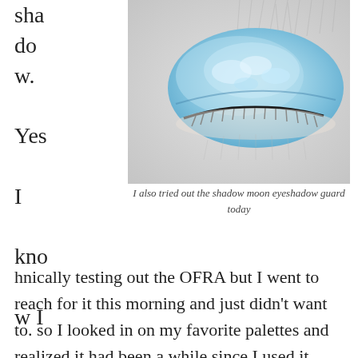shadow. Yes I know I am still tec
[Figure (photo): Close-up photo of a closed eye with shimmery blue/teal eyeshadow applied, with light-colored fur or hair visible around the eye area]
I also tried out the shadow moon eyeshadow guard today
hnically testing out the OFRA but I went to reach for it this morning and just didn't want to. so I looked in on my favorite palettes and realized it had been a while since I used it. With the new palettes coming in from subscription boxes sometimes I forget to